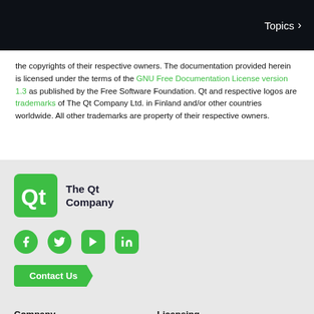Topics ›
the copyrights of their respective owners. The documentation provided herein is licensed under the terms of the GNU Free Documentation License version 1.3 as published by the Free Software Foundation. Qt and respective logos are trademarks of The Qt Company Ltd. in Finland and/or other countries worldwide. All other trademarks are property of their respective owners.
[Figure (logo): The Qt Company logo — green rounded-corner square with Qt text in white, beside text 'The Qt Company']
[Figure (infographic): Social media icons: Facebook, Twitter, YouTube, LinkedIn — all in green]
Contact Us
Company
Licensing
About Us
Terms & Conditions
Investors
Open Source
Newsroom
FAQ